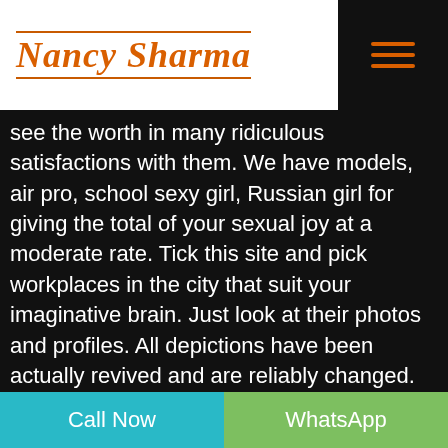Nancy Sharma
see the worth in many ridiculous satisfactions with them. We have models, air pro, school sexy girl, Russian girl for giving the total of your sexual joy at a moderate rate. Tick this site and pick workplaces in the city that suit your imaginative brain. Just look at their photos and profiles. All depictions have been actually revived and are reliably changed. In portfolio you can find a wide extent of sorts of girl: from wild brunettes to brilliant blonde cuts. Start organizing your minutes in the city and how you can deal with your pal near you. Mandi call girls is to perform sophisticate with your client. We selected all the age get-together of sexy girl, ladies and proposition them a potential for progress to have on her feet. We are reli...
Call Now   WhatsApp